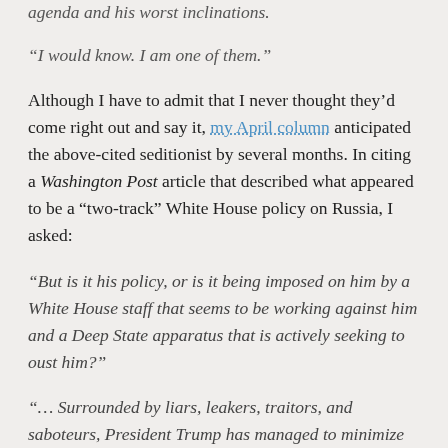agenda and his worst inclinations.
“I would know. I am one of them.”
Although I have to admit that I never thought they’d come right out and say it, my April column anticipated the above-cited seditionist by several months. In citing a Washington Post article that described what appeared to be a “two-track” White House policy on Russia, I asked:
“But is it his policy, or is it being imposed on him by a White House staff that seems to be working against him and a Deep State apparatus that is actively seeking to oust him?”
“… Surrounded by liars, leakers, traitors, and saboteurs, President Trump has managed to minimize the damage done by the War Party, while he’s not entirely able to